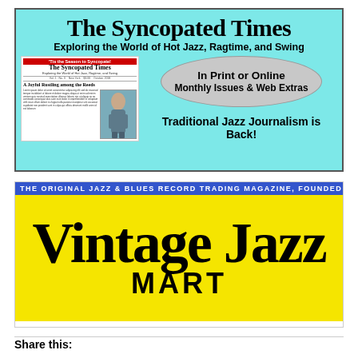[Figure (illustration): The Syncopated Times advertisement — cyan background with newspaper title 'The Syncopated Times', subtitle 'Exploring the World of Hot Jazz, Ragtime, and Swing', a miniature newspaper image on the left, and an oval with 'In Print or Online Monthly Issues & Web Extras' on the right, plus the tagline 'Traditional Jazz Journalism is Back!']
[Figure (illustration): Vintage Jazz Mart advertisement — blue banner reading 'THE ORIGINAL JAZZ & BLUES RECORD TRADING MAGAZINE, FOUNDED IN 1953', yellow background with large black text 'Vintage Jazz MART']
Share this: